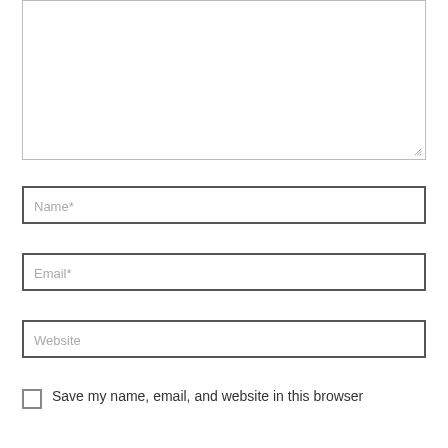[Figure (screenshot): A large empty textarea form field with a resize handle in the bottom-right corner, bordered in light gray]
Name*
Email*
Website
Save my name, email, and website in this browser